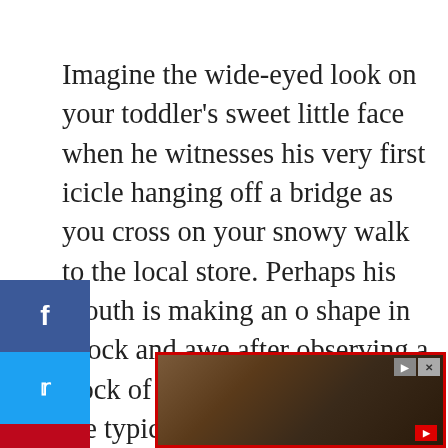Imagine the wide-eyed look on your toddler's sweet little face when he witnesses his very first icicle hanging off a bridge as you cross on your snowy walk to the local store. Perhaps his mouth is making an o shape in shock and awe after observing a flock of geese flying overhead in the typical V formation during a simple weekend hike in the mountains. He might be showing a delighted smile from ear to ear when your precious little one sees the birth of a calf whil
[Figure (screenshot): Social media share buttons sidebar: Facebook (blue), Twitter (light blue), Pinterest (red), Email (green)]
[Figure (photo): Advertisement banner at bottom with dark brownish image and red border, with play and close buttons]